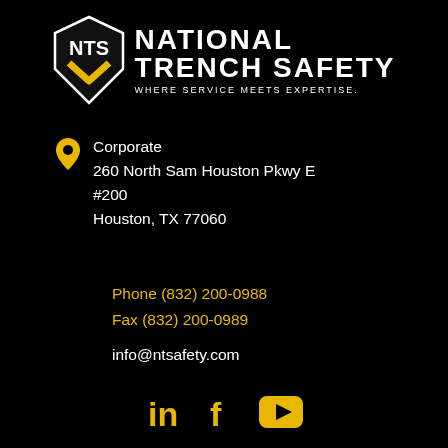[Figure (logo): National Trench Safety logo with NTS shield and text 'NATIONAL TRENCH SAFETY - WHERE SERVICE MEETS EXPERTISE.']
Corporate
260 North Sam Houston Pkwy E
#200
Houston, TX 77060
Phone (832) 200-0988
Fax (832) 200-0989
info@ntsafety.com
[Figure (infographic): Social media icons: LinkedIn, Facebook, YouTube in gold/yellow color]
PRODUCTS
SAFETY TRAINING
ABOUT US